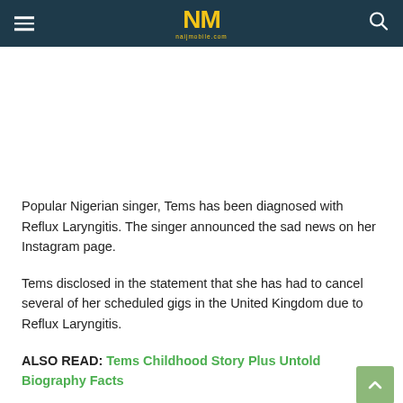NM naijmobile.com
[Figure (other): Advertisement/blank area]
Popular Nigerian singer, Tems has been diagnosed with Reflux Laryngitis. The singer announced the sad news on her Instagram page.
Tems disclosed in the statement that she has had to cancel several of her scheduled gigs in the United Kingdom due to Reflux Laryngitis.
ALSO READ: Tems Childhood Story Plus Untold Biography Facts